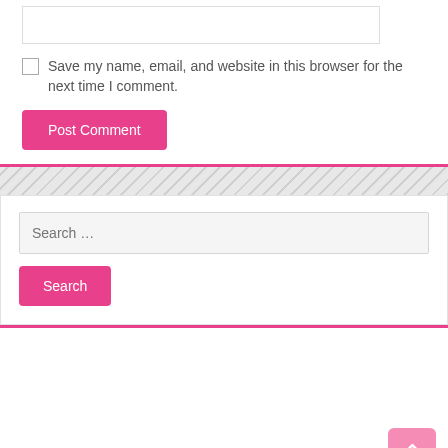Save my name, email, and website in this browser for the next time I comment.
Post Comment
Search …
Search